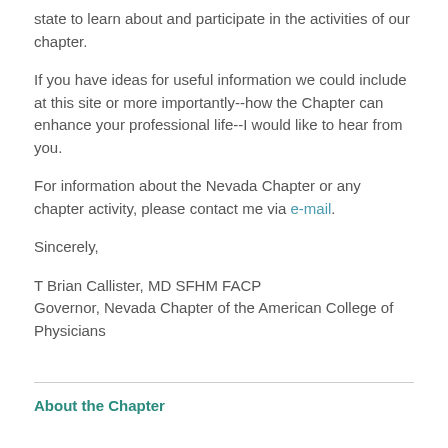state to learn about and participate in the activities of our chapter.
If you have ideas for useful information we could include at this site or more importantly--how the Chapter can enhance your professional life--I would like to hear from you.
For information about the Nevada Chapter or any chapter activity, please contact me via e-mail.
Sincerely,
T Brian Callister, MD SFHM FACP
Governor, Nevada Chapter of the American College of Physicians
About the Chapter